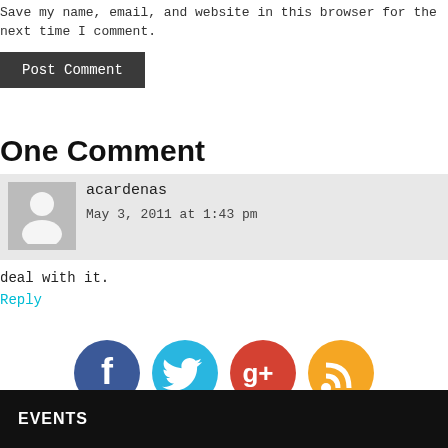Save my name, email, and website in this browser for the next time I comment.
Post Comment
One Comment
acardenas
May 3, 2011 at 1:43 pm
deal with it.
Reply
[Figure (infographic): Four social media icons in circles: Facebook (blue), Twitter (cyan), Google+ (red), RSS (orange)]
EVENTS